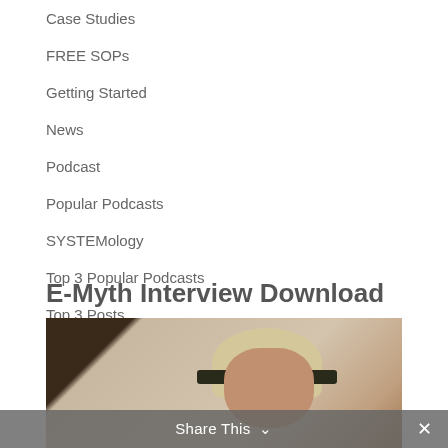Case Studies
FREE SOPs
Getting Started
News
Podcast
Popular Podcasts
SYSTEMology
Top 3 Popular Podcasts
Top 3 Posts
E-Myth Interview Download
[Figure (photo): Photo of two people, one wearing a hat, likely from a podcast or interview setting]
Share This ∨